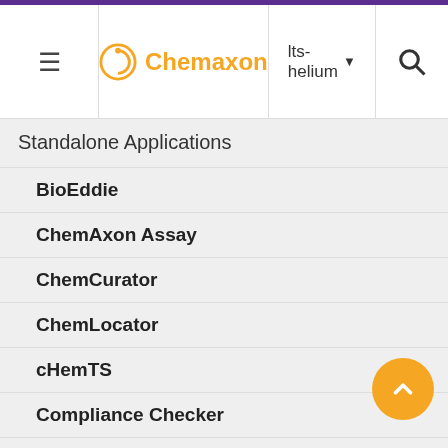Chemaxon | Its-helium
Standalone Applications
BioEddie
ChemAxon Assay
ChemCurator
ChemLocator
cHemTS
Compliance Checker
Compound Registration
Quick Start Guide
with semi-quanti compo inform In the case of a Mixtur every mpo has